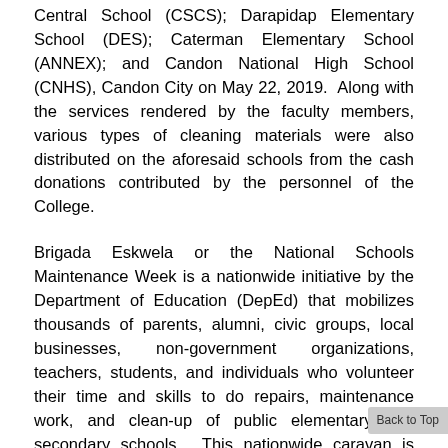Central School (CSCS); Darapidap Elementary School (DES); Caterman Elementary School (ANNEX); and Candon National High School (CNHS), Candon City on May 22, 2019. Along with the services rendered by the faculty members, various types of cleaning materials were also distributed on the aforesaid schools from the cash donations contributed by the personnel of the College.
Brigada Eskwela or the National Schools Maintenance Week is a nationwide initiative by the Department of Education (DepEd) that mobilizes thousands of parents, alumni, civic groups, local businesses, non-government organizations, teachers, students, and individuals who volunteer their time and skills to do repairs, maintenance work, and clean-up of public elementary and secondary schools. This nationwide caravan is held simultaneously across the country's 16 regions. (by Imari G. Taloza)